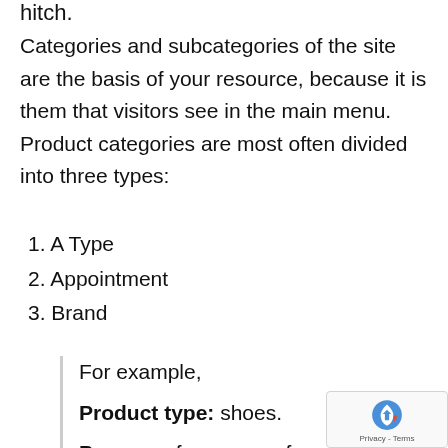hitch.
Categories and subcategories of the site are the basis of your resource, because it is them that visitors see in the main menu. Product categories are most often divided into three types:
1. A Type
2. Appointment
3. Brand
For example,
Product type: shoes.
Purpose: for women, for men, for children. ( Appointment )